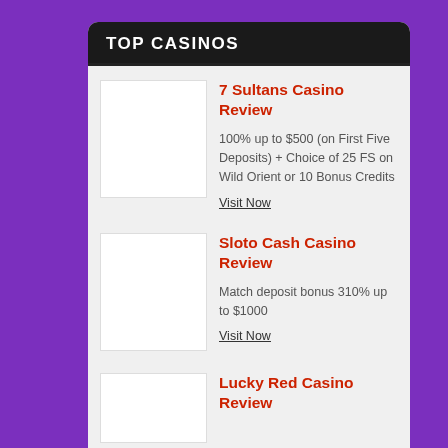TOP CASINOS
7 Sultans Casino Review — 100% up to $500 (on First Five Deposits) + Choice of 25 FS on Wild Orient or 10 Bonus Credits — Visit Now
Sloto Cash Casino Review — Match deposit bonus 310% up to $1000 — Visit Now
Lucky Red Casino Review